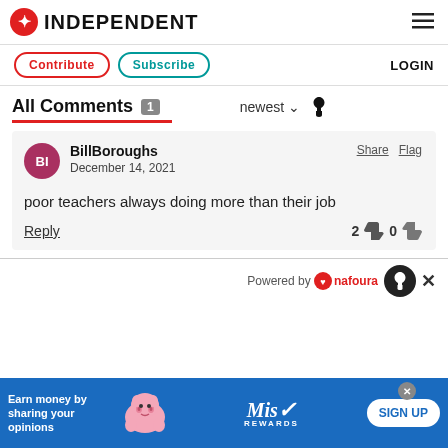INDEPENDENT
Contribute  Subscribe  LOGIN
All Comments 1  newest  🔔
BillBoroughs
December 14, 2021

poor teachers always doing more than their job

Reply  2 👍 0 👎
Powered by 🔔nafoura
[Figure (screenshot): Advertisement banner: Earn money by sharing your opinions - Miss Rewards SIGN UP]